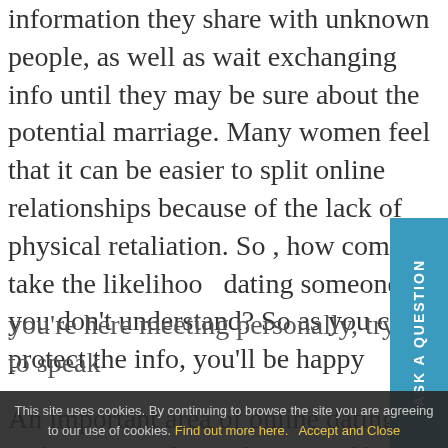information they share with unknown people, as well as wait exchanging info until they may be sure about the potential marriage. Many women feel that it can be easier to split online relationships because of the lack of physical retaliation. So , how come take the likelihood dating someone you don't understand? So as you can protect the info, you'll be happy.
An important area of online dating is authenticity. Always be yourself upon these sites. Prevent hiding behind a display or sta too cryptic with regards to your intentions. However, you might not understand the person you're here meeting personally, try to speak
ASK A QUESTION
This site uses cookies. By continuing to browse the site you are agreeing to our use of cookies. Find out more here.   Accept and Close
slavaholic... there is not an point in dating